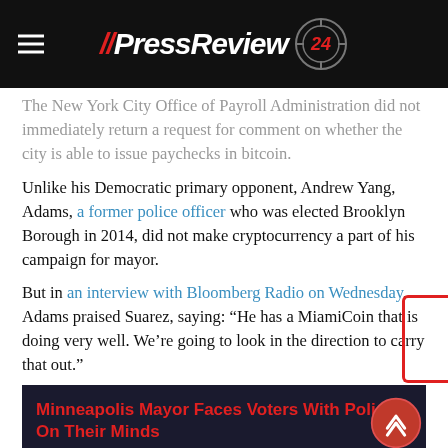// PressReview 24
The New York City Office of Payroll Administration did not immediately return a request for comment on whether the city is able to issue paychecks in bitcoin.
Unlike his Democratic primary opponent, Andrew Yang, Adams, a former police officer who was elected Brooklyn Borough in 2014, did not make cryptocurrency a part of his campaign for mayor.
But in an interview with Bloomberg Radio on Wednesday, Adams praised Suarez, saying: “He has a MiamiCoin that is doing very well. We’re going to look in the direction to carry that out.”
Minneapolis Mayor Faces Voters With Policing On Their Minds